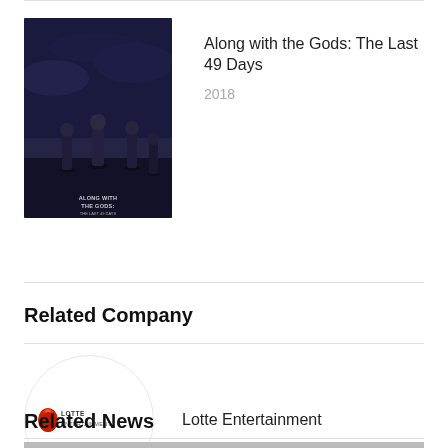[Figure (photo): Movie poster for 'Along with the Gods: The Last 49 Days' showing dark-clad figures against a moody blue sky]
Along with the Gods: The Last 49 Days
2018
Related Company
[Figure (logo): Lotte Entertainment circular logo with red icon and text 'LOTTE ENTERTAINMENT']
Lotte Entertainment
Related News
[Figure (photo): Partial news article thumbnail image at bottom of page]